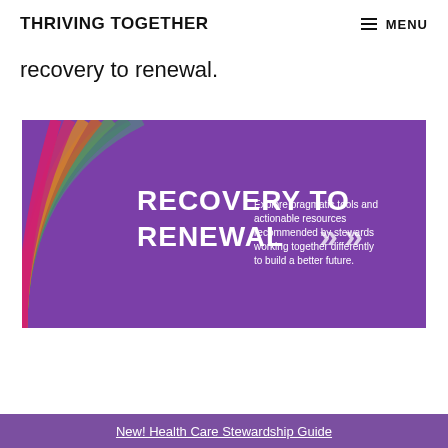THRIVING TOGETHER   MENU
recovery to renewal.
[Figure (illustration): Purple banner image with rainbow arc on left side, bold white text 'RECOVERY TO RENEWAL >>' on left, and smaller white text 'Explore pragmatic tools and actionable resources recommended by stewards working together differently to build a better future.' on the right]
New! Health Care Stewardship Guide